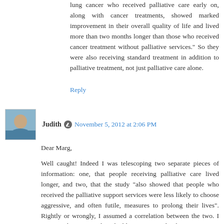lung cancer who received palliative care early on, along with cancer treatments, showed marked improvement in their overall quality of life and lived more than two months longer than those who received cancer treatment without palliative services." So they were also receiving standard treatment in addition to palliative treatment, not just palliative care alone.
Reply
Judith  November 5, 2012 at 2:06 PM
Dear Marg,
Well caught! Indeed I was telescoping two separate pieces of information: one, that people receiving palliative care lived longer, and two, that the study "also showed that people who received the palliative support services were less likely to choose aggressive, and often futile, measures to prolong their lives". Rightly or wrongly, I assumed a correlation between the two. I am considering amending the blog post accordingly.